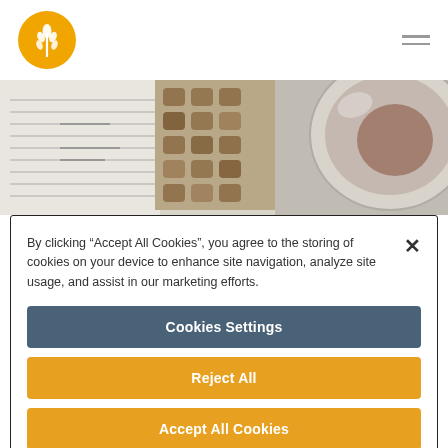[Figure (logo): Orange circular logo with white wheat/grain icon]
[Figure (photo): Partial photo showing baked goods/cookies and a mixing bowl on a recipe page]
By clicking “Accept All Cookies”, you agree to the storing of cookies on your device to enhance site navigation, analyze site usage, and assist in our marketing efforts.
Cookies Settings
Reject All
Accept All Cookies